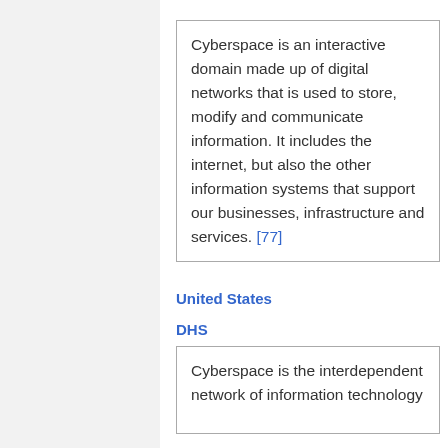Cyberspace is an interactive domain made up of digital networks that is used to store, modify and communicate information. It includes the internet, but also the other information systems that support our businesses, infrastructure and services. [77]
United States
DHS
Cyberspace is the interdependent network of information technology